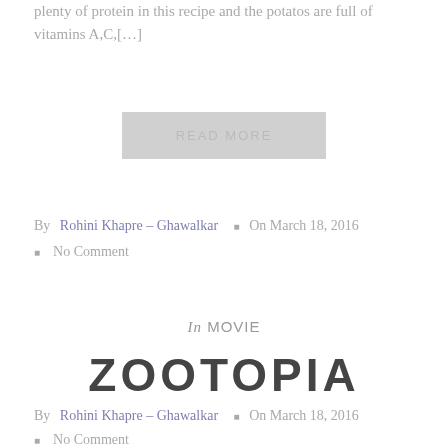plenty of protein in this recipe and the potatos are full of vitamins A,C,[…]
READ MORE
By Rohini Khapre – Ghawalkar ■ On March 18, 2016
■ No Comment
In MOVIE
ZOOTOPIA
By Rohini Khapre – Ghawalkar ■ On March 18, 2016
■ No Comment
Yesterday I watched the movie Zootopia. I felt scared because in the part when Judy and Nick were finding out what the animal, who was making the predetor animals go